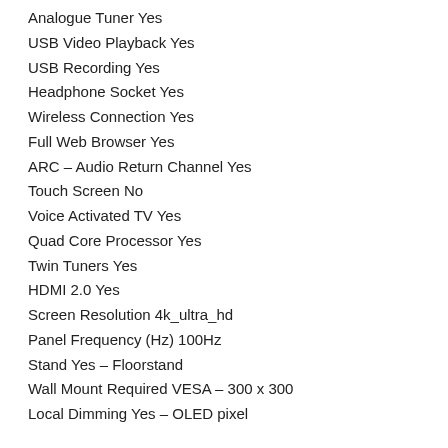Analogue Tuner Yes
USB Video Playback Yes
USB Recording Yes
Headphone Socket Yes
Wireless Connection Yes
Full Web Browser Yes
ARC – Audio Return Channel Yes
Touch Screen No
Voice Activated TV Yes
Quad Core Processor Yes
Twin Tuners Yes
HDMI 2.0 Yes
Screen Resolution 4k_ultra_hd
Panel Frequency (Hz) 100Hz
Stand Yes – Floorstand
Wall Mount Required VESA – 300 x 300
Local Dimming Yes – OLED pixel